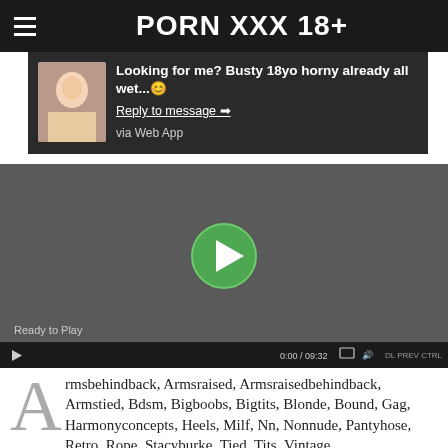PORN XXX 18+
Looking for me? Busty 18yo horny already all wet... Reply to message → via Web App
[Figure (screenshot): Video player showing a dark gray background with a green play button in the center, ready to play state, duration 0:00 / 09:32]
Armsbehindback, Armsraised, Armsraisedbehindback, Armstied, Bdsm, Bigboobs, Bigtits, Blonde, Bound, Gag, Harmonyconcepts, Heels, Milf, Nn, Nonnude, Pantyhose, Retro, Rope, Stacyburke, Tied, Tits, Vintage